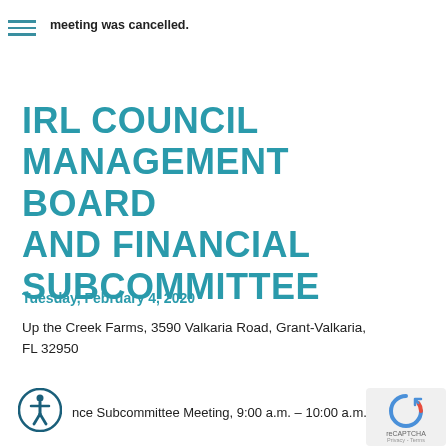meeting was cancelled.
IRL COUNCIL MANAGEMENT BOARD AND FINANCIAL SUBCOMMITTEE
Tuesday, February 4, 2020
Up the Creek Farms, 3590 Valkaria Road, Grant-Valkaria, FL 32950
nce Subcommittee Meeting, 9:00 a.m. – 10:00 a.m.